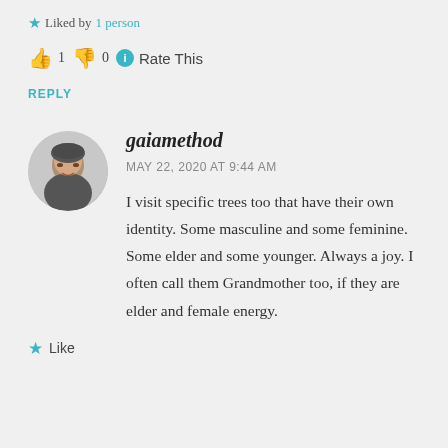★ Liked by 1 person
👍 1 👎 0 ℹ Rate This
REPLY
[Figure (photo): Round avatar photo of a person, female, dark clothing, light background]
gaiamethod
MAY 22, 2020 AT 9:44 AM
I visit specific trees too that have their own identity. Some masculine and some feminine. Some elder and some younger. Always a joy. I often call them Grandmother too, if they are elder and female energy.
★ Like